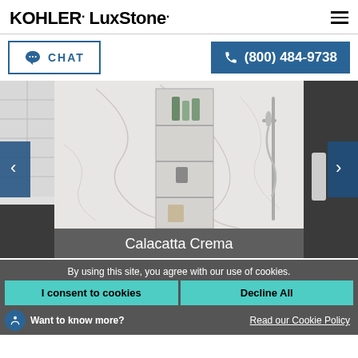KOHLER. LuxStone.
CHAT
(800) 484-9738
[Figure (photo): Shower interior with marble-look white wall panels, built-in shelf niche with products, and a brushed nickel showerhead. Label: Calacatta Crema]
Calacatta Crema
By using this site, you agree with our use of cookies.
I consent to cookies
Decline All
Want to know more?
Read our Cookie Policy